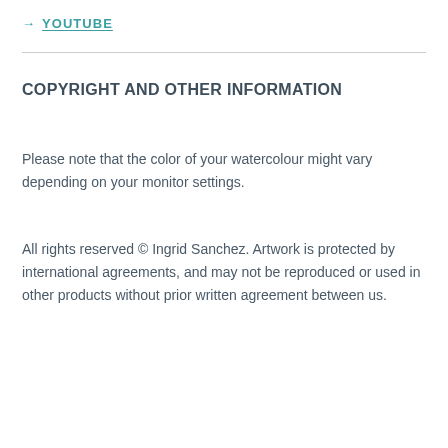→ YOUTUBE
COPYRIGHT AND OTHER INFORMATION
Please note that the color of your watercolour might vary depending on your monitor settings.
All rights reserved © Ingrid Sanchez. Artwork is protected by international agreements, and may not be reproduced or used in other products without prior written agreement between us.